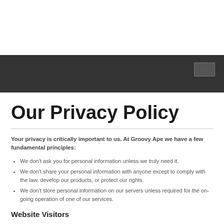[Figure (other): Dark navigation bar with a small rectangular button on the right side]
Our Privacy Policy
Your privacy is critically important to us. At Groovy Ape we have a few fundamental principles:
We don't ask you for personal information unless we truly need it.
We don't share your personal information with anyone except to comply with the law, develop our products, or protect our rights.
We don't store personal information on our servers unless required for the on-going operation of one of our services.
Website Visitors